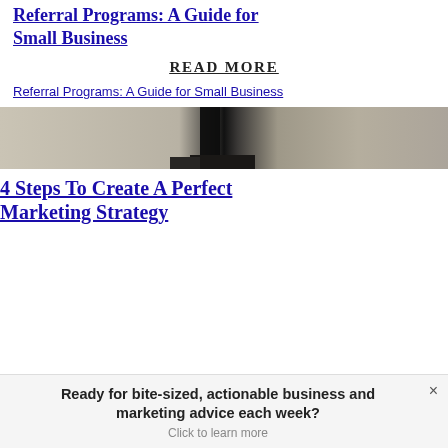Referral Programs: A Guide for Small Business
READ MORE
Referral Programs: A Guide for Small Business
[Figure (photo): Partial photo showing an interior/office scene with dark vertical element in center, light gray and beige tones]
4 Steps To Create A Perfect Marketing Strategy
Ready for bite-sized, actionable business and marketing advice each week? Click to learn more